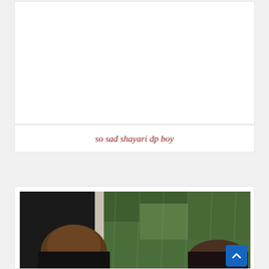[Figure (other): White empty card/advertisement area at the top of the page]
so sad shayari dp boy
[Figure (photo): Photo of a boy/person with brown hair viewed from behind or side, sitting near a window with green landscape visible outside, moody and sad atmosphere]